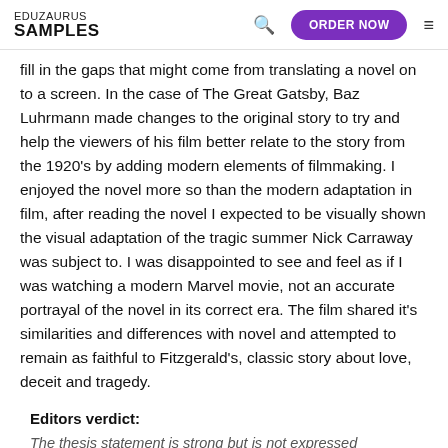EDUZAURUS SAMPLES | ORDER NOW
fill in the gaps that might come from translating a novel on to a screen. In the case of The Great Gatsby, Baz Luhrmann made changes to the original story to try and help the viewers of his film better relate to the story from the 1920's by adding modern elements of filmmaking. I enjoyed the novel more so than the modern adaptation in film, after reading the novel I expected to be visually shown the visual adaptation of the tragic summer Nick Carraway was subject to. I was disappointed to see and feel as if I was watching a modern Marvel movie, not an accurate portrayal of the novel in its correct era. The film shared it's similarities and differences with novel and attempted to remain as faithful to Fitzgerald's, classic story about love, deceit and tragedy.
Editors verdict:
The thesis statement is strong but is not expressed